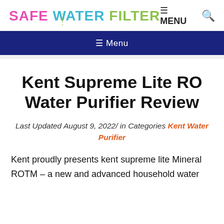SAFE WATER FILTER — ≡ MENU 🔍
≡ Menu
Kent Supreme Lite RO Water Purifier Review
Last Updated August 9, 2022/ in Categories Kent Water Purifier
Kent proudly presents kent supreme lite Mineral ROTM – a new and advanced household water